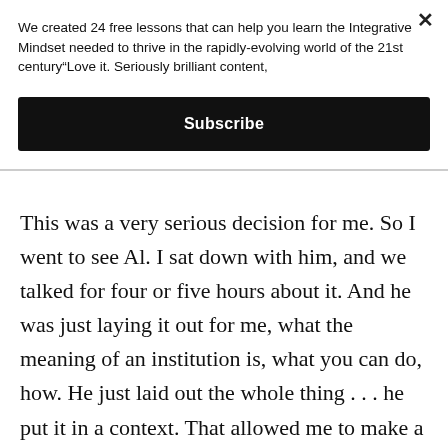We created 24 free lessons that can help you learn the Integrative Mindset needed to thrive in the rapidly-evolving world of the 21st century“Love it. Seriously brilliant content,
Subscribe
This was a very serious decision for me. So I went to see Al. I sat down with him, and we talked for four or five hours about it. And he was just laying it out for me, what the meaning of an institution is, what you can do, how. He just laid out the whole thing… he put it in a context. That allowed me to make a decision the next day. He didn’t tell me what to do. He gave me clear information. “You can do this or you can do that. This means this and this means